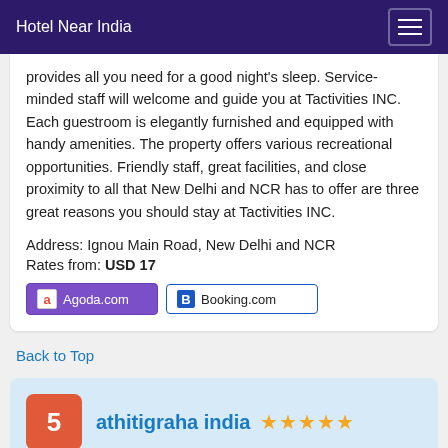Hotel Near India
provides all you need for a good night's sleep. Service-minded staff will welcome and guide you at Tactivities INC. Each guestroom is elegantly furnished and equipped with handy amenities. The property offers various recreational opportunities. Friendly staff, great facilities, and close proximity to all that New Delhi and NCR has to offer are three great reasons you should stay at Tactivities INC.
Address: Ignou Main Road, New Delhi and NCR
Rates from: USD 17
Back to Top
5 athitigraha india ★★★★★
1.42 km from Asola Wildlife Sanctuary